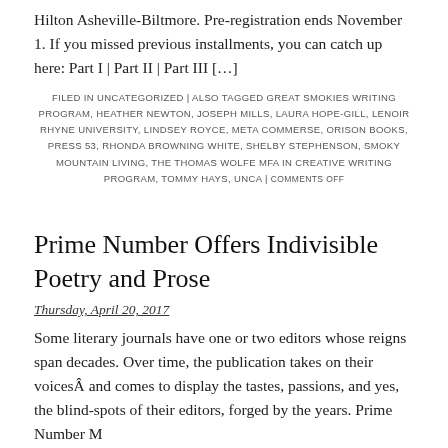Hilton Asheville-Biltmore. Pre-registration ends November 1. If you missed previous installments, you can catch up here: Part I | Part II | Part III […]
FILED IN UNCATEGORIZED | ALSO TAGGED GREAT SMOKIES WRITING PROGRAM, HEATHER NEWTON, JOSEPH MILLS, LAURA HOPE-GILL, LENOIR RHYNE UNIVERSITY, LINDSEY ROYCE, META COMMERSE, ORISON BOOKS, PRESS 53, RHONDA BROWNING WHITE, SHELBY STEPHENSON, SMOKY MOUNTAIN LIVING, THE THOMAS WOLFE MFA IN CREATIVE WRITING PROGRAM, TOMMY HAYS, UNCA | COMMENTS OFF
Prime Number Offers Indivisible Poetry and Prose
Thursday, April 20, 2017
Some literary journals have one or two editors whose reigns span decades. Over time, the publication takes on their voicesÂ and comes to display the tastes, passions, and yes, the blind-spots of their editors, forged by the years. Prime Number M…